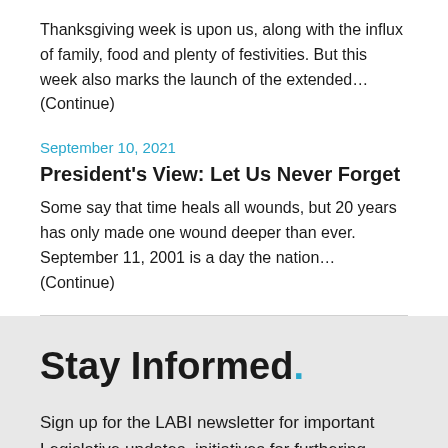Thanksgiving week is upon us, along with the influx of family, food and plenty of festivities. But this week also marks the launch of the extended... (Continue)
September 10, 2021
President's View: Let Us Never Forget
Some say that time heals all wounds, but 20 years has only made one wound deeper than ever.  September 11, 2001 is a day the nation... (Continue)
Stay Informed.
Sign up for the LABI newsletter for important Legislative updates, initiatives for furthering